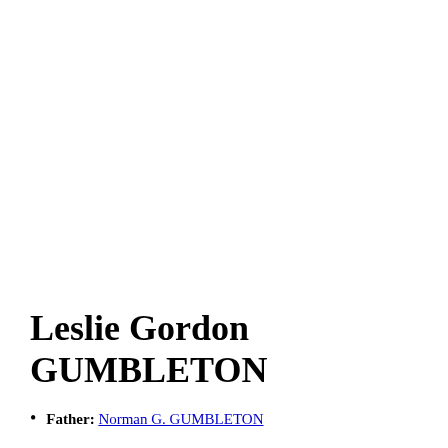Leslie Gordon GUMBLETON
Father: Norman G. GUMBLETON